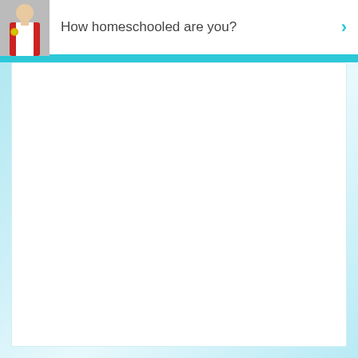[Figure (photo): Thumbnail photo of a person wearing a red vest, positioned in the top-left header area]
How homeschooled are you?